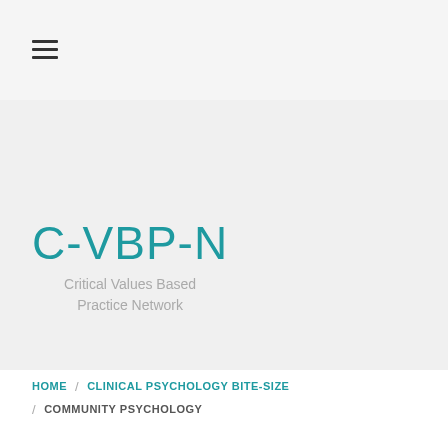[Figure (other): Hamburger menu icon (three horizontal lines)]
C-VBP-N
Critical Values Based Practice Network
HOME / CLINICAL PSYCHOLOGY BITE-SIZE / COMMUNITY PSYCHOLOGY